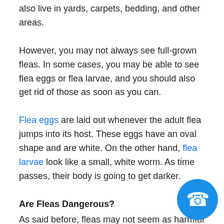also live in yards, carpets, bedding, and other areas.
However, you may not always see full-grown fleas. In some cases, you may be able to see flea eggs or flea larvae, and you should also get rid of those as soon as you can.
Flea eggs are laid out whenever the adult flea jumps into its host. These eggs have an oval shape and are white. On the other hand, flea larvae look like a small, white worm. As time passes, their body is going to get darker.
Are Fleas Dangerous?
As said before, fleas may not seem as harmful as other insects, but if you don't take care of them, you may be exposed to several health issues in the future. Keep in mind that fle... especially dangerous for pets since they feed on your pet's...
[Figure (illustration): Blue circular phone/call button icon in the bottom right corner]